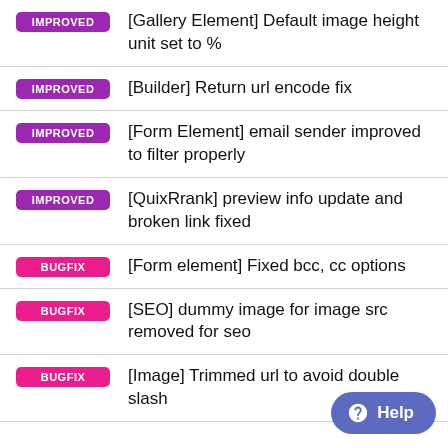IMPROVED [Gallery Element] Default image height unit set to %
IMPROVED [Builder] Return url encode fix
IMPROVED [Form Element] email sender improved to filter properly
IMPROVED [QuixRrank] preview info update and broken link fixed
BUGFIX [Form element] Fixed bcc, cc options
BUGFIX [SEO] dummy image for image src removed for seo
BUGFIX [Image] Trimmed url to avoid double slash